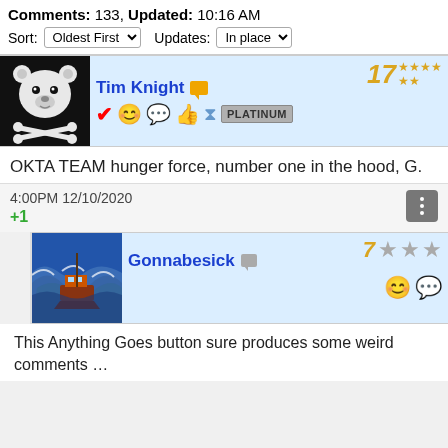Comments: 133, Updated: 10:16 AM
Sort: Oldest First   Updates: In place
[Figure (screenshot): User profile card for Tim Knight with pirate bear avatar, level 17, platinum badge, and various emoji badges]
OKTA TEAM hunger force, number one in the hood, G.
4:00PM 12/10/2020
+1
[Figure (screenshot): User profile card for Gonnabesick with stormy sea ship avatar, level 7, and three silver stars]
This Anything Goes button sure produces some weird comments …